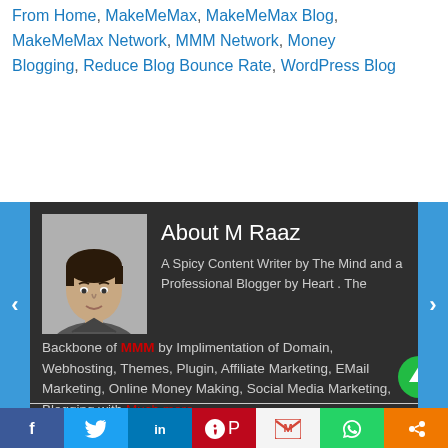From Home, MakeMeMax, MakeMeMax Blog, MakeMeMax Network, MMM Network, Money Blogging, Reduce Blog Bounce Rate, WordPress Blog
[Figure (illustration): Author bio card with dark background showing photo of M Raaz and bio text. Left and right navigation arrows in blue. Text describes M Raaz as a content writer and blogger with MMM in red and Much more... in red.]
[Figure (illustration): Green circle with white upward arrow (scroll-to-top button)]
[Figure (illustration): Social media sharing bar with Facebook, Twitter, LinkedIn, Pinterest, Gmail, WhatsApp, and share buttons]